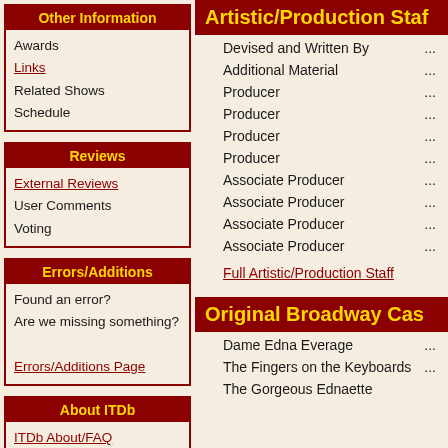Other Information
Awards
Links
Related Shows
Schedule
Reviews
External Reviews
User Comments
Voting
Errors/Additions
Found an error? Are we missing something?
Errors/Additions Page
About ITDb
ITDb About/FAQ
Advertising info
Copyright info
Submission info
Artistic/Production Staff
Devised and Written By ... Additional Material ... Producer ... Producer ... Producer ... Producer ... Associate Producer ... Associate Producer ... Associate Producer ... Associate Producer ...
Full Artistic/Production Staff
Original Broadway Cast
Dame Edna Everage ... The Fingers on the Keyboards ... The Gorgeous Ednaette ...